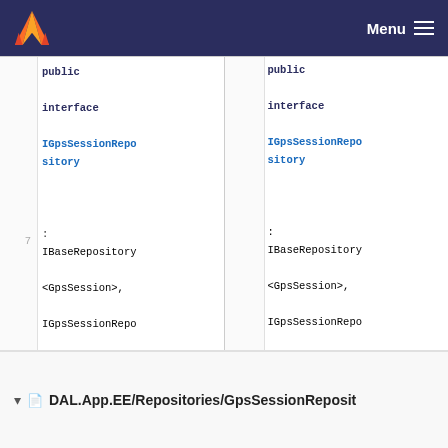GitLab - Menu
[Figure (screenshot): Code diff view showing two panels side by side. Left panel (old): partial interface IGpsSessionRepository : IBaseRepository<GpsSession>, IGpsSessionRepositoryCustom { } with line numbers 7,8,9. Right panel (new): same interface with an added method Task<GpsSession> GetFirstWithAllLocationsAsync(Guid id); highlighted in green at line 10, line numbers 9-12. Bottom shows file path DAL.App.EE/Repositories/GpsSessionReposit]
DAL.App.EE/Repositories/GpsSessionReposit